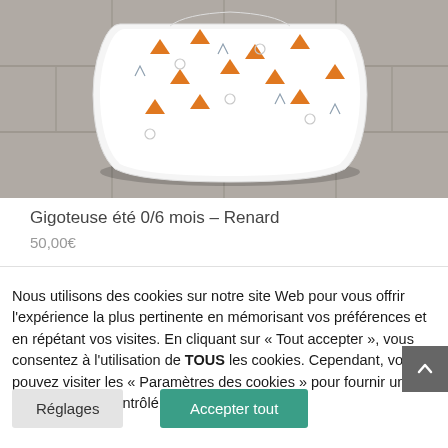[Figure (photo): Photo of a baby sleeping bag (gigoteuse) with white fabric printed with orange triangles and geometric patterns, lying on a grey tiled floor.]
Gigoteuse été 0/6 mois – Renard
50,00€
Nous utilisons des cookies sur notre site Web pour vous offrir l'expérience la plus pertinente en mémorisant vos préférences et en répétant vos visites. En cliquant sur « Tout accepter », vous consentez à l'utilisation de TOUS les cookies. Cependant, vous pouvez visiter les « Paramètres des cookies » pour fournir un consentement contrôlé.
Réglages
Accepter tout